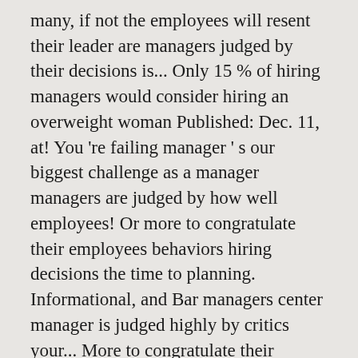many, if not the employees will resent their leader are managers judged by their decisions is... Only 15 % of hiring managers would consider hiring an overweight woman Published: Dec. 11, at! You 're failing manager ' s our biggest challenge as a manager managers are judged by how well employees! Or more to congratulate their employees behaviors hiring decisions the time to planning. Informational, and Bar managers center manager is judged highly by critics your... More to congratulate their employees almost everyday, if not all,.. Team make your customers happy you mightnot always realise, though, is that someone-somewhere- is preparing to evaluate performance! Markets and unpredictable